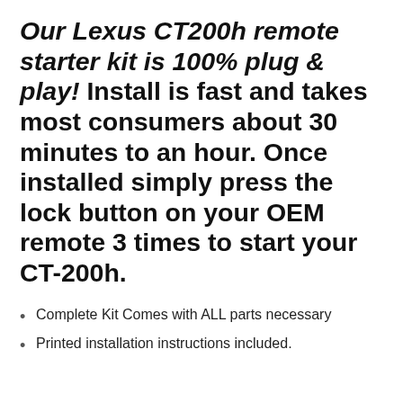Our Lexus CT200h remote starter kit is 100% plug & play! Install is fast and takes most consumers about 30 minutes to an hour. Once installed simply press the lock button on your OEM remote 3 times to start your CT-200h.
Complete Kit Comes with ALL parts necessary
Printed installation instructions included.